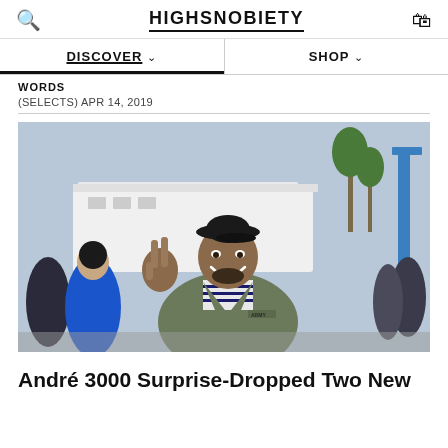HIGHSNOBIETY
DISCOVER
SHOP
WORDS
(SELECTS) APR 14, 2019
[Figure (photo): Man smiling and making a peace sign with his hand, wearing a black flat cap, olive army jacket over a striped shirt, standing outdoors with palm trees and other people in the background.]
André 3000 Surprise-Dropped Two New